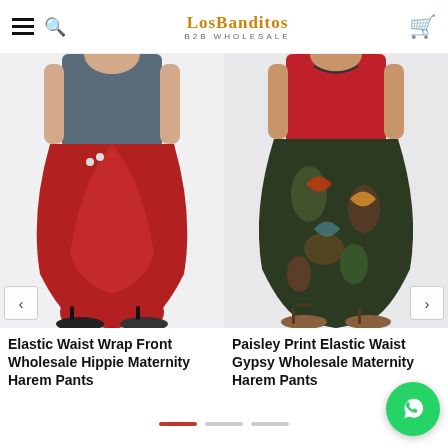LosBanditos B2B WHOLESALE
[Figure (photo): Woman wearing red Elastic Waist Wrap Front Wholesale Hippie Maternity Harem Pants with grey tank top, black sandals, white background]
Elastic Waist Wrap Front Wholesale Hippie Maternity Harem Pants
[Figure (photo): Woman wearing paisley print green/dark Elastic Waist Gypsy Wholesale Maternity Harem Pants with red tank top, brown sandals, white background]
Paisley Print Elastic Waist Gypsy Wholesale Maternity Harem Pants